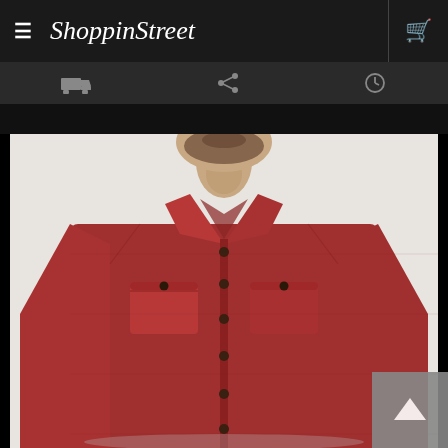ShoppinStreet - navigation header with menu icon, logo, and cart icon
[Figure (photo): Man wearing a red long-sleeve button-up shirt with two chest pockets, photographed from the chin down on a white background]
[Figure (screenshot): Scroll-to-top button in the bottom-right corner]